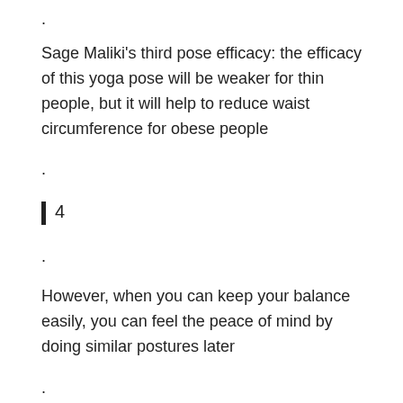.
Sage Maliki's third pose efficacy: the efficacy of this yoga pose will be weaker for thin people, but it will help to reduce waist circumference for obese people
.
| 4
.
However, when you can keep your balance easily, you can feel the peace of mind by doing similar postures later
.
Reverse half lotus standing balance effect: if you don't